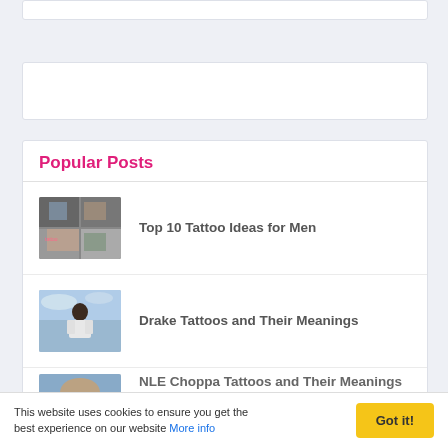[Figure (other): White box, top portion cut off]
[Figure (other): White advertisement placeholder box]
Popular Posts
[Figure (photo): Collage of tattoo photos for Men]
Top 10 Tattoo Ideas for Men
[Figure (photo): Drake standing outdoors in white tank top]
Drake Tattoos and Their Meanings
[Figure (photo): Partial photo, NLE Choppa tattoos article]
NLE Choppa Tattoos and Their Meanings
This website uses cookies to ensure you get the best experience on our website More info